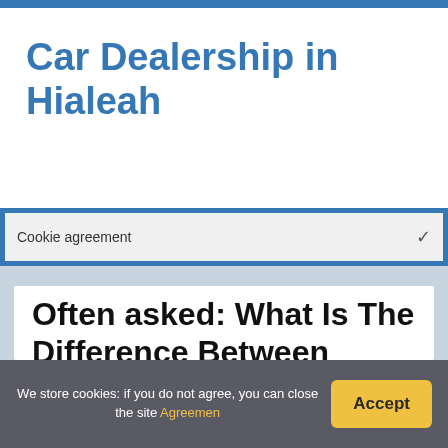Car Dealership in Hialeah
Cookie agreement
Often asked: What Is The Difference Between Brushed And Brushless Motors In Rc Cars?
We store cookies: if you do not agree, you can close the site Agreemen